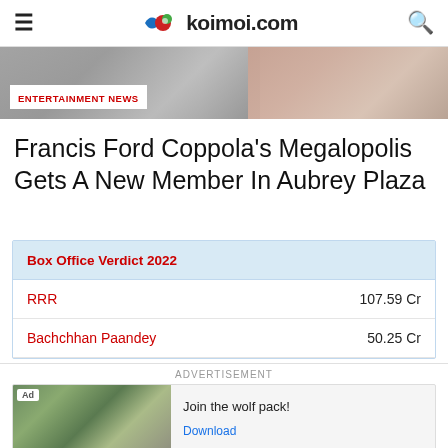koimoi.com
[Figure (photo): Hero banner image with entertainment news label overlay]
Francis Ford Coppola’s Megalopolis Gets A New Member In Aubrey Plaza
| Box Office Verdict 2022 |  |
| --- | --- |
| RRR | 107.59 Cr |
| Bachchhan Paandey | 50.25 Cr |
[Figure (screenshot): Advertisement banner: Join the wolf pack! with wolf images and Download button]